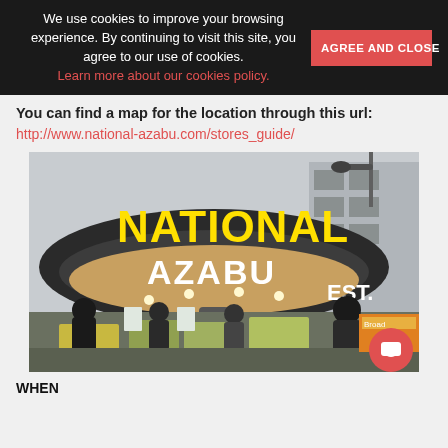We use cookies to improve your browsing experience. By continuing to visit this site, you agree to our use of cookies. Learn more about our cookies policy.
AGREE AND CLOSE
You can find a map for the location through this url:
http://www.national-azabu.com/stores_guide/
[Figure (photo): Exterior photo of National Azabu supermarket storefront with yellow and white signage on a dark circular canopy, people shopping outside with produce displays]
WHEN